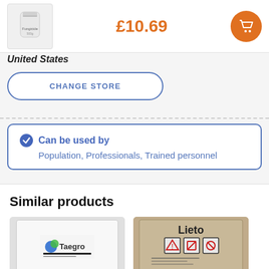[Figure (screenshot): Product image thumbnail (white container/jar) at top left]
£10.69
[Figure (illustration): Orange circular cart/shopping button icon]
United States
CHANGE STORE
Can be used by
Population, Professionals, Trained personnel
Similar products
[Figure (photo): Taegro product packaging - white bag with Taegro brand logo]
[Figure (photo): Lieto product packaging - foil bag with Lieto brand name and hazard symbols]